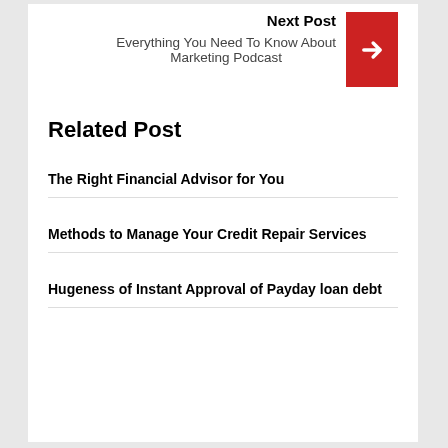Next Post
Everything You Need To Know About Marketing Podcast
Related Post
The Right Financial Advisor for You
Methods to Manage Your Credit Repair Services
Hugeness of Instant Approval of Payday loan debt